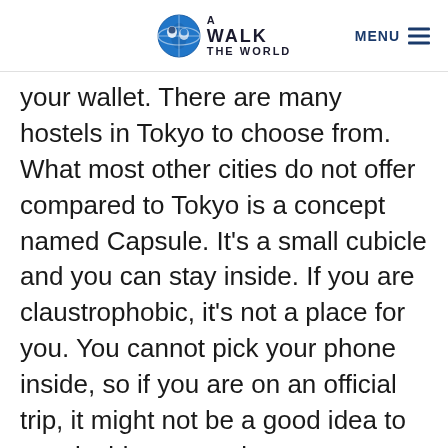A Walk in the World | MENU
your wallet. There are many hostels in Tokyo to choose from. What most other cities do not offer compared to Tokyo is a concept named Capsule. It’s a small cubicle and you can stay inside. If you are claustrophobic, it’s not a place for you. You cannot pick your phone inside, so if you are on an official trip, it might not be a good idea to stay inside a capsule.
If you are not traveling solo and have someone to share a room with, you can lookout for a proper hotel. It will cost you a